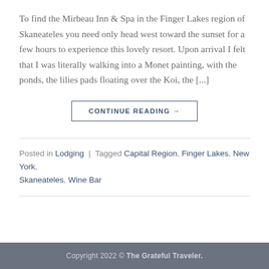To find the Mirbeau Inn & Spa in the Finger Lakes region of Skaneateles you need only head west toward the sunset for a few hours to experience this lovely resort. Upon arrival I felt that I was literally walking into a Monet painting, with the ponds, the lilies pads floating over the Koi, the [...]
CONTINUE READING →
Posted in Lodging | Tagged Capital Region, Finger Lakes, New York, Skaneateles, Wine Bar
Copyright 2022 © The Grateful Traveler.